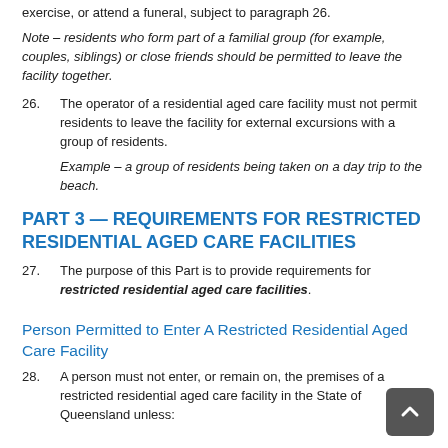exercise, or attend a funeral, subject to paragraph 26.
Note – residents who form part of a familial group (for example, couples, siblings) or close friends should be permitted to leave the facility together.
26. The operator of a residential aged care facility must not permit residents to leave the facility for external excursions with a group of residents.

Example – a group of residents being taken on a day trip to the beach.
PART 3 — REQUIREMENTS FOR RESTRICTED RESIDENTIAL AGED CARE FACILITIES
27. The purpose of this Part is to provide requirements for restricted residential aged care facilities.
Person Permitted to Enter A Restricted Residential Aged Care Facility
28. A person must not enter, or remain on, the premises of a restricted residential aged care facility in the State of Queensland unless: